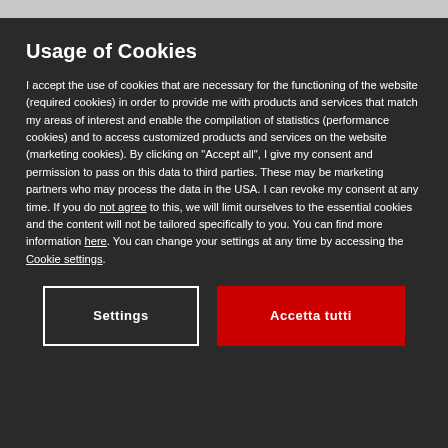Usage of Cookies
I accept the use of cookies that are necessary for the functioning of the website (required cookies) in order to provide me with products and services that match my areas of interest and enable the compilation of statistics (performance cookies) and to access customized products and services on the website (marketing cookies). By clicking on "Accept all", I give my consent and permission to pass on this data to third parties. These may be marketing partners who may process the data in the USA. I can revoke my consent at any time. If you do not agree to this, we will limit ourselves to the essential cookies and the content will not be tailored specifically to you. You can find more information here. You can change your settings at any time by accessing the Cookie settings.
Settings
Accetta tutti